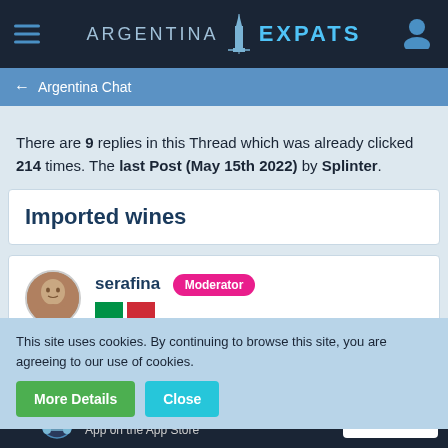[Figure (screenshot): Argentina Expats website navigation bar with hamburger menu, logo with obelisk icon, and user profile icon]
← Argentina Chat
There are 9 replies in this Thread which was already clicked 214 times. The last Post (May 15th 2022) by Splinter.
Imported wines
serafina Moderator
[Figure (illustration): Italian flag (green and red sections)]
This site uses cookies. By continuing to browse this site, you are agreeing to our use of cookies.
More Details   Close
www.argentinaexpats.org in the WSC-Connect App on the App Store   Download